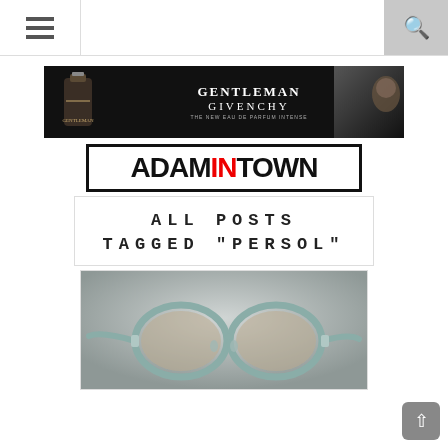[Figure (screenshot): Website navigation bar with hamburger menu icon on left, empty center area, and search icon on right gray background]
[Figure (photo): Advertisement banner for Gentleman Givenchy cologne showing perfume bottle on left, brand text in center, and man's face on right, black background]
[Figure (logo): AdamInTown logo: black block letters ADAM, red IN, black TOWN, all bold in black bordered rectangle]
ALL POSTS TAGGED "PERSOL"
[Figure (photo): Persol sunglasses with light blue-green frames and mirrored lenses photographed against gray gradient background]